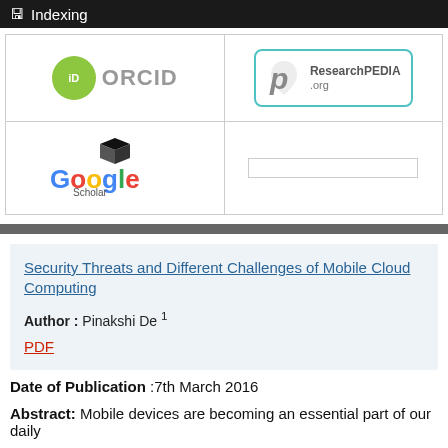Indexing
[Figure (logo): ORCID logo — green circle with 'iD' text and 'ORCID' in grey letters]
[Figure (logo): ResearchPEDIA.org logo in a teal/cyan rounded rectangle border]
[Figure (logo): Google Scholar logo with mortarboard hat and colorful Google letters]
Security Threats and Different Challenges of Mobile Cloud Computing
Author : Pinakshi De 1
PDF
Date of Publication :7th March 2016
Abstract: Mobile devices are becoming an essential part of our daily